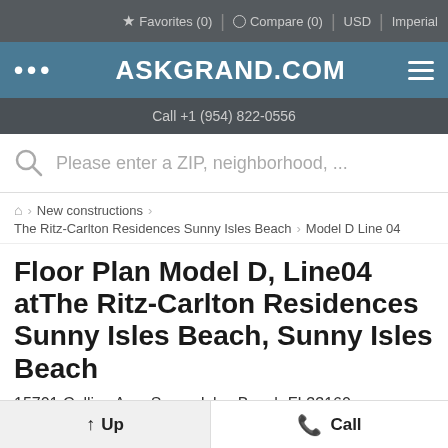Favorites (0)   Compare (0)   USD   Imperial
ASKGRAND.COM
Call +1 (954) 822-0556
Please enter a ZIP, neighborhood, ...
New constructions  >  The Ritz-Carlton Residences Sunny Isles Beach  >  Model D Line 04
Floor Plan Model D, Line04 atThe Ritz-Carlton Residences Sunny Isles Beach, Sunny Isles Beach
15701 Collins Ave, Sunny Isles Beach FL33160
Compare   Favorite
Up   Call